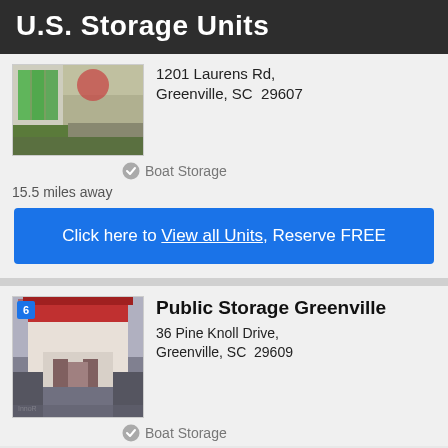U.S. Storage Units
[Figure (photo): Exterior photo of U.S. Storage Units facility on Laurens Rd, Greenville]
1201 Laurens Rd, Greenville, SC  29607
Boat Storage
15.5 miles away
Click here to View all Units, Reserve FREE
[Figure (photo): Exterior photo of Public Storage Greenville on Pine Knoll Drive]
Public Storage Greenville
36 Pine Knoll Drive, Greenville, SC  29609
Boat Storage